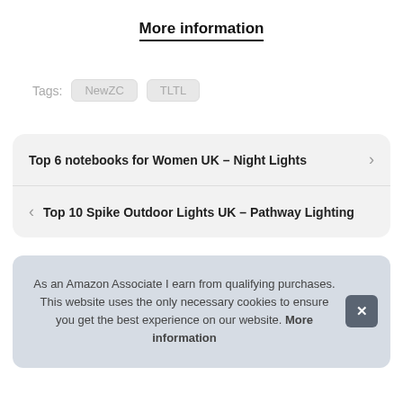More information
Tags: NewZC TLTL
Top 6 notebooks for Women UK – Night Lights
Top 10 Spike Outdoor Lights UK – Pathway Lighting
As an Amazon Associate I earn from qualifying purchases. This website uses the only necessary cookies to ensure you get the best experience on our website. More information